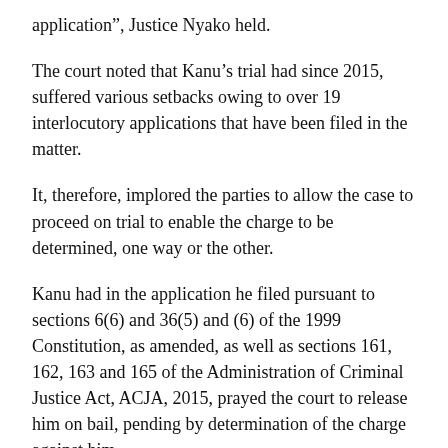application”, Justice Nyako held.
The court noted that Kanu’s trial had since 2015, suffered various setbacks owing to over 19 interlocutory applications that have been filed in the matter.
It, therefore, implored the parties to allow the case to proceed on trial to enable the charge to be determined, one way or the other.
Kanu had in the application he filed pursuant to sections 6(6) and 36(5) and (6) of the 1999 Constitution, as amended, as well as sections 161, 162, 163 and 165 of the Administration of Criminal Justice Act, ACJA, 2015, prayed the court to release him on bail, pending by determination of the charge against him.
He equally prayed the court to order the Department of State Services, DSS, to produce the medical report of the